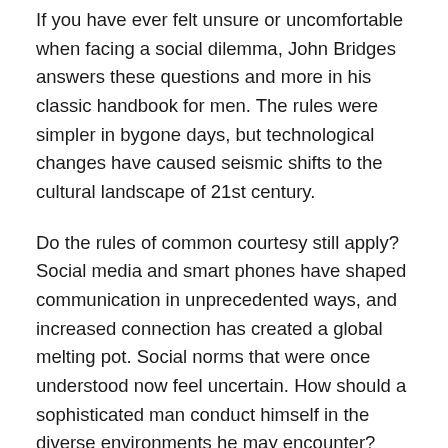If you have ever felt unsure or uncomfortable when facing a social dilemma, John Bridges answers these questions and more in his classic handbook for men. The rules were simpler in bygone days, but technological changes have caused seismic shifts to the cultural landscape of 21st century.
Do the rules of common courtesy still apply? Social media and smart phones have shaped communication in unprecedented ways, and increased connection has created a global melting pot. Social norms that were once understood now feel uncertain. How should a sophisticated man conduct himself in the diverse environments he may encounter?
How to Be a Gentleman is an indispensable guide for men of all ages who aspire to become gentlemen, including tips and guidelines such as how to respond to those with